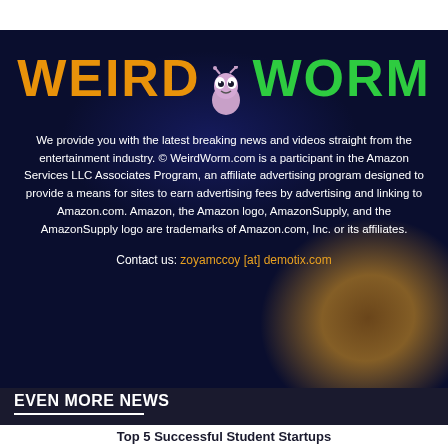[Figure (logo): WeirdWorm logo with orange WEIRD text, cartoon worm character, and green WORM text on dark blue background]
We provide you with the latest breaking news and videos straight from the entertainment industry. © WeirdWorm.com is a participant in the Amazon Services LLC Associates Program, an affiliate advertising program designed to provide a means for sites to earn advertising fees by advertising and linking to Amazon.com. Amazon, the Amazon logo, AmazonSupply, and the AmazonSupply logo are trademarks of Amazon.com, Inc. or its affiliates.
Contact us: zoyamccoy [at] demotix.com
EVEN MORE NEWS
Top 5 Successful Student Startups